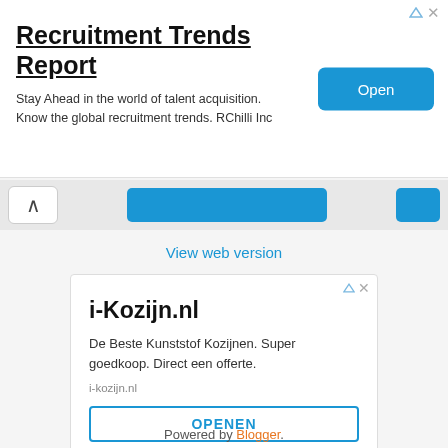[Figure (screenshot): Top advertisement banner for Recruitment Trends Report with Open button]
[Figure (screenshot): Navigation bar with up arrow button, blue center button, and blue right button]
View web version
[Figure (screenshot): Advertisement box for i-Kozijn.nl with title, description, URL, and OPENEN button]
Powered by Blogger.